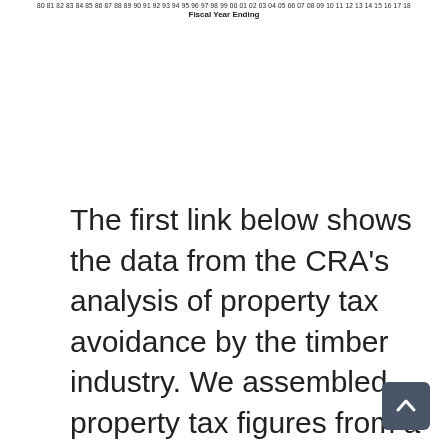[Figure (continuous-plot): Bottom fragment of a bar chart showing fiscal year ending x-axis labels from 80 through 18, with 'Fiscal Year Ending' axis label visible]
The first link below shows the data from the CRA's analysis of property tax avoidance by the timber industry. We assembled property tax figures from a 2013 Legislative Revenue Office (LRO) report. We then recalculated the timber industry taxes paid for each year adjusted for inflation. We used the Bureau of Labor